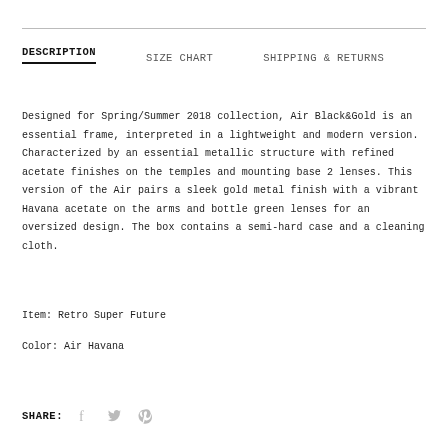DESCRIPTION | SIZE CHART | SHIPPING & RETURNS
Designed for Spring/Summer 2018 collection, Air Black&Gold is an essential frame, interpreted in a lightweight and modern version. Characterized by an essential metallic structure with refined acetate finishes on the temples and mounting base 2 lenses. This version of the Air pairs a sleek gold metal finish with a vibrant Havana acetate on the arms and bottle green lenses for an oversized design. The box contains a semi-hard case and a cleaning cloth.
Item: Retro Super Future
Color: Air Havana
SHARE: